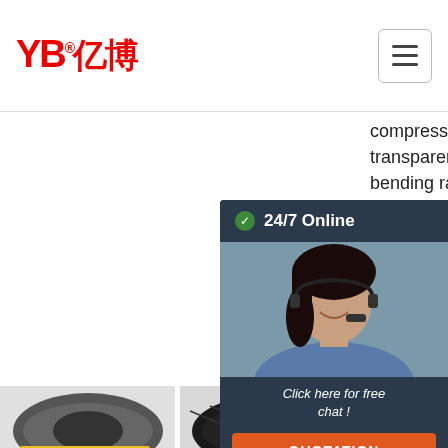YB亿博 logo and navigation
compressible Very transparent wall Small bending radius Can be made anti-static by grounding the spiral Light duty, medium duty and ...
gaseous and liquid me... pap... fibre sma... and pro... aga... ...
[Figure (photo): 24/7 Online chat overlay with female customer service representative wearing headset. Dark background with 'Click here for free chat!' text and orange QUOTATION button.]
Get Price
G...
[Figure (photo): Grey rubber hose with yellow stripe branding, EN856 2TE marking]
[Figure (photo): Black hydraulic hose with ccmo.com YB branding]
[Figure (photo): Braided metallic hose with TOP orange logo overlay]